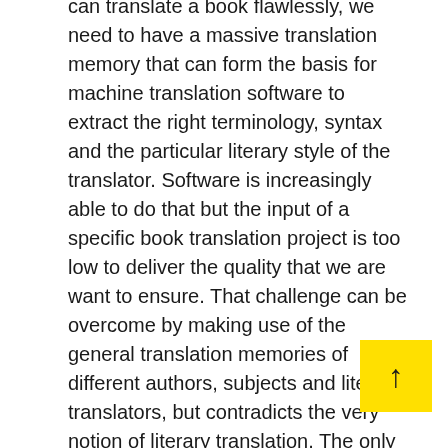can translate a book flawlessly, we need to have a massive translation memory that can form the basis for machine translation software to extract the right terminology, syntax and the particular literary style of the translator. Software is increasingly able to do that but the input of a specific book translation project is too low to deliver the quality that we are want to ensure. That challenge can be overcome by making use of the general translation memories of different authors, subjects and literary translators, but contradicts the very notion of literary translation. The only possible solution is to have a massive translation memory from a translator who translated the whole oeuvre of an author, but even then chances are that machine translation will fail to do its job.